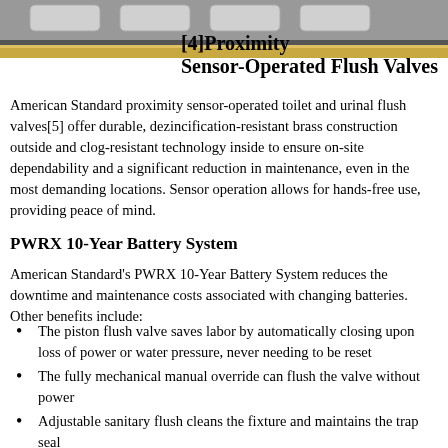[Figure (photo): Photo of proximity sensor-operated flush valves mounted above a sink basin, with gold/brass strip at bottom]
[4]Proximity Sensor-Operated Flush Valves
American Standard proximity sensor-operated toilet and urinal flush valves[5] offer durable, dezincification-resistant brass construction outside and clog-resistant technology inside to ensure on-site dependability and a significant reduction in maintenance, even in the most demanding locations. Sensor operation allows for hands-free use, providing peace of mind.
PWRX 10-Year Battery System
American Standard's PWRX 10-Year Battery System reduces the downtime and maintenance costs associated with changing batteries. Other benefits include:
The piston flush valve saves labor by automatically closing upon loss of power or water pressure, never needing to be reset
The fully mechanical manual override can flush the valve without power
Adjustable sanitary flush cleans the fixture and maintains the trap seal
Frequency and duration are adjustable with optional remote control